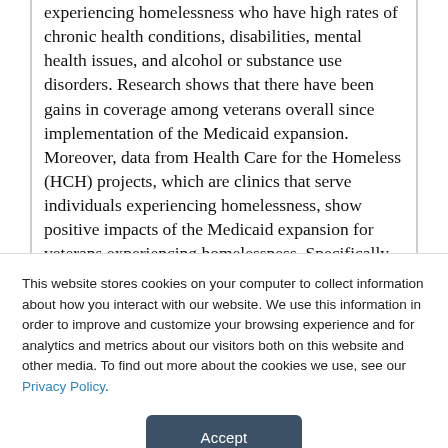experiencing homelessness who have high rates of chronic health conditions, disabilities, mental health issues, and alcohol or substance use disorders. Research shows that there have been gains in coverage among veterans overall since implementation of the Medicaid expansion. Moreover, data from Health Care for the Homeless (HCH) projects, which are clinics that serve individuals experiencing homelessness, show positive impacts of the Medicaid expansion for veterans experiencing homelessness. Specifically, data reported by nine HCH
This website stores cookies on your computer to collect information about how you interact with our website. We use this information in order to improve and customize your browsing experience and for analytics and metrics about our visitors both on this website and other media. To find out more about the cookies we use, see our Privacy Policy.